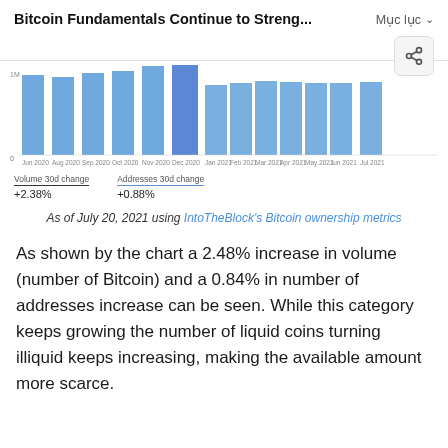Bitcoin Fundamentals Continue to Streng...  Mục lục
[Figure (bar-chart): Bitcoin volume and addresses 30d change]
Volume 30d change: +2.38%  Addresses 30d change: +0.88%
As of July 20, 2021 using IntoTheBlock's Bitcoin ownership metrics
As shown by the chart a 2.48% increase in volume (number of Bitcoin) and a 0.84% in number of addresses increase can be seen. While this category keeps growing the number of liquid coins turning illiquid keeps increasing, making the available amount more scarce.